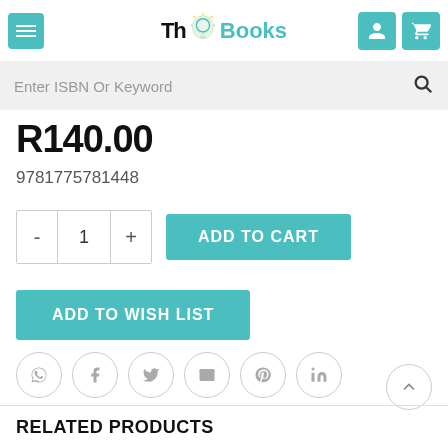ThinkBooks
Enter ISBN Or Keyword
R140.00
9781775781448
ADD TO CART
ADD TO WISH LIST
RELATED PRODUCTS